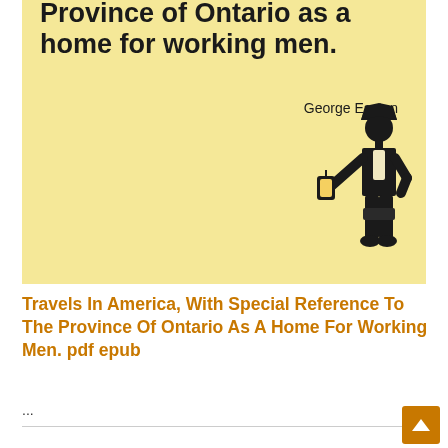[Figure (illustration): Book cover with yellow/cream background showing partial title 'Province of Ontario as a home for working men.' with author name 'George Easton' and a black silhouette illustration of a man in historical clothing holding a lantern]
Travels In America, With Special Reference To The Province Of Ontario As A Home For Working Men. pdf epub
...